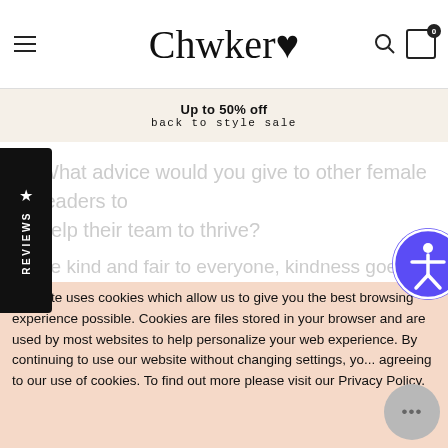Chwker♥ — navigation header with hamburger menu, logo, search and cart icons
Up to 50% off
back to style sale
What advice would you give to other female leaders to help their team to thrive?
be kind and fair to everyone, kindness goes a long way, treat everyone with the same ounce of love and respect...
★ REVIEWS
This site uses cookies which allow us to give you the best browsing experience possible. Cookies are files stored in your browser and are used by most websites to help personalize your web experience. By continuing to use our website without changing settings, you are agreeing to our use of cookies. To find out more please visit our Privacy Policy.